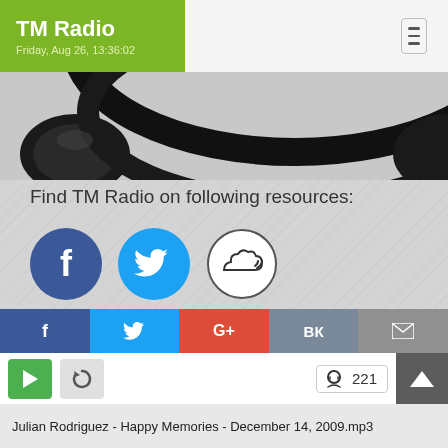TM Radio — Friday, Aug 26, 13:36:02
[Figure (photo): Partial view of black headphones from above, cropped at top of page]
Find TM Radio on following resources:
[Figure (infographic): Three social media icon circles: Facebook (dark blue with f), Twitter (light blue with bird), and SoundCloud (white with cloud+waves icon)]
Like or Share this page on Facebook:
Radio DJs Sign in here
[Figure (infographic): Share bar with five buttons: Facebook (f), Twitter (bird), Google+ (G+), VK (VK), Email (envelope)]
[Figure (infographic): Player bar with green play button, refresh button, and headphone listener count: 221]
Julian Rodriguez - Happy Memories - December 14, 2009.mp3